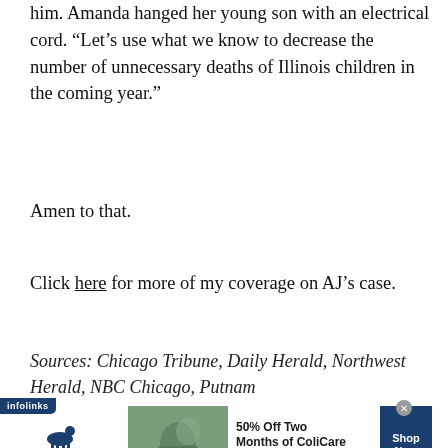him. Amanda hanged her young son with an electrical cord. “Let’s use what we know to decrease the number of unnecessary deaths of Illinois children in the coming year.”
Amen to that.
Click here for more of my coverage on AJ’s case.
Sources: Chicago Tribune, Daily Herald, Northwest Herald, NBC Chicago, Putnam
[Figure (other): Advertisement banner: SmartPak with horse/rider photo and '50% Off Two Months of ColiCare, ColiCare Eligible Supplements, CODE: COLICARE10' offer. Blue 'Shop Now' button. Infolinks tab in bottom-left corner.]